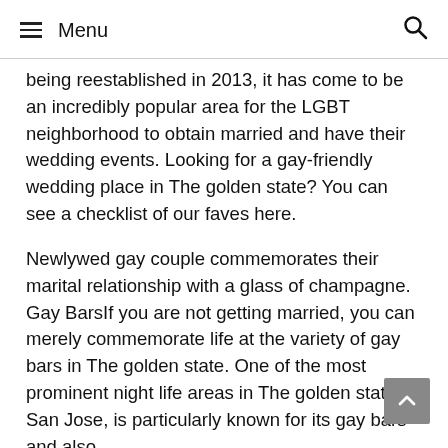☰ Menu  🔍
being reestablished in 2013, it has come to be an incredibly popular area for the LGBT neighborhood to obtain married and have their wedding events. Looking for a gay-friendly wedding place in The golden state? You can see a checklist of our faves here.
Newlywed gay couple commemorates their marital relationship with a glass of champagne. Gay BarsIf you are not getting married, you can merely commemorate life at the variety of gay bars in The golden state. One of the most prominent night life areas in The golden state, San Jose, is particularly known for its gay bars and also